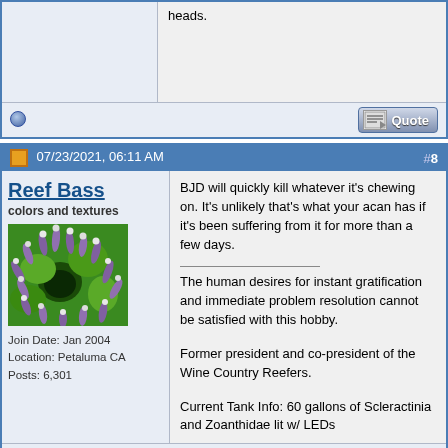heads.
07/23/2021, 06:11 AM  #8
Reef Bass
colors and textures
[Figure (photo): Close-up photo of colorful coral with purple and green colors]
Join Date: Jan 2004
Location: Petaluma CA
Posts: 6,301
BJD will quickly kill whatever it's chewing on. It's unlikely that's what your acan has if it's been suffering from it for more than a few days.

The human desires for instant gratification and immediate problem resolution cannot be satisfied with this hobby.

Former president and co-president of the Wine Country Reefers.

Current Tank Info: 60 gallons of Scleractinia and Zoanthidae lit w/ LEDs
07/23/2021, 01:38 PM  #9